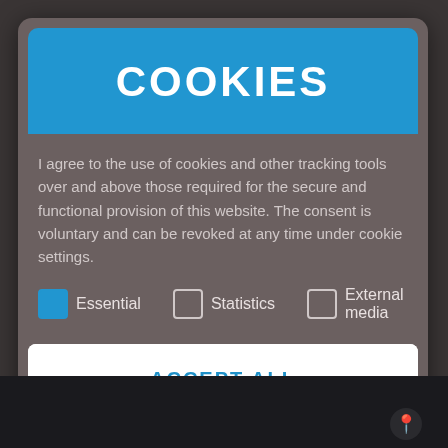COOKIES
I agree to the use of cookies and other tracking tools over and above those required for the secure and functional provision of this website. The consent is voluntary and can be revoked at any time under cookie settings.
Essential (checked)
Statistics (unchecked)
External media (unchecked)
ACCEPT ALL